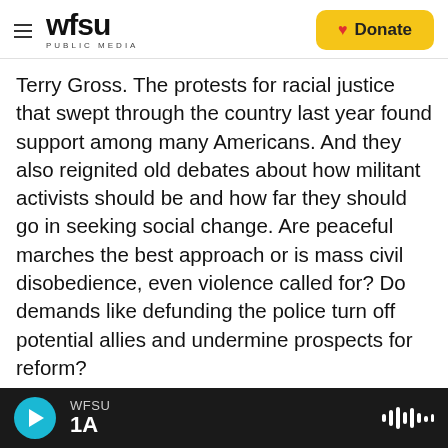[Figure (logo): WFSU Public Media logo with hamburger menu icon on the left and a yellow Donate button with heart icon on the right]
Terry Gross. The protests for racial justice that swept through the country last year found support among many Americans. And they also reignited old debates about how militant activists should be and how far they should go in seeking social change. Are peaceful marches the best approach or is mass civil disobedience, even violence called for? Do demands like defunding the police turn off potential allies and undermine prospects for reform?
Our guest today, historian Kerri Greenidge, has a book about an African American activist and a
[Figure (screenshot): Audio player bar at the bottom showing WFSU 1A with a teal play button and waveform icon]